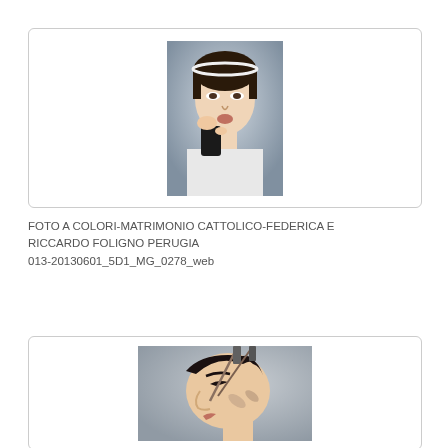[Figure (photo): A woman in a white dress with a headband looking into a small mirror/phone, wedding preparation photo]
FOTO A COLORI-MATRIMONIO CATTOLICO-FEDERICA E RICCARDO FOLIGNO PERUGIA
013-20130601_5D1_MG_0278_web
[Figure (photo): A woman in profile getting makeup applied, close-up of face with makeup brush]